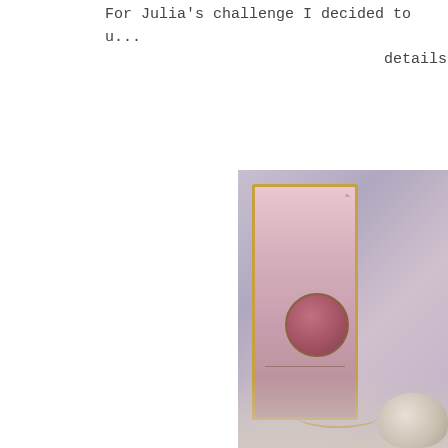For Julia's challenge I decided to u... details
[Figure (photo): A decorative handmade card or art piece with a pink/mauve background with gold border edges, featuring a face or portrait element in the lower portion, white roses and floral embellishments at the bottom, and twine or string detail. The card sits against a light purple/lavender background.]